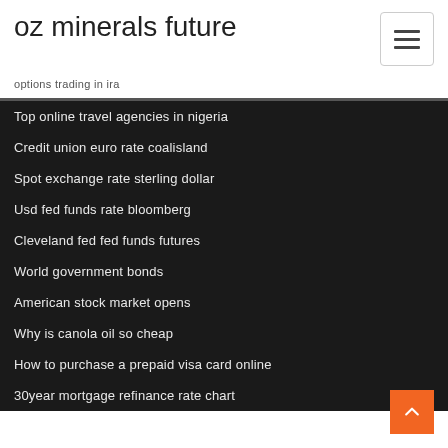oz minerals future
options trading in ira
Top online travel agencies in nigeria
Credit union euro rate coalisland
Spot exchange rate sterling dollar
Usd fed funds rate bloomberg
Cleveland fed fed funds futures
World government bonds
American stock market opens
Why is canola oil so cheap
How to purchase a prepaid visa card online
30year mortgage refinance rate chart